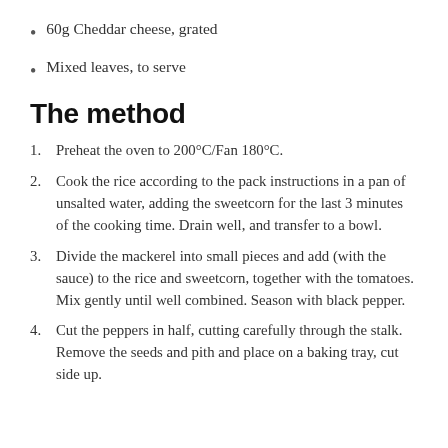60g Cheddar cheese, grated
Mixed leaves, to serve
The method
1. Preheat the oven to 200°C/Fan 180°C.
2. Cook the rice according to the pack instructions in a pan of unsalted water, adding the sweetcorn for the last 3 minutes of the cooking time. Drain well, and transfer to a bowl.
3. Divide the mackerel into small pieces and add (with the sauce) to the rice and sweetcorn, together with the tomatoes. Mix gently until well combined. Season with black pepper.
4. Cut the peppers in half, cutting carefully through the stalk. Remove the seeds and pith and place on a baking tray, cut side up.